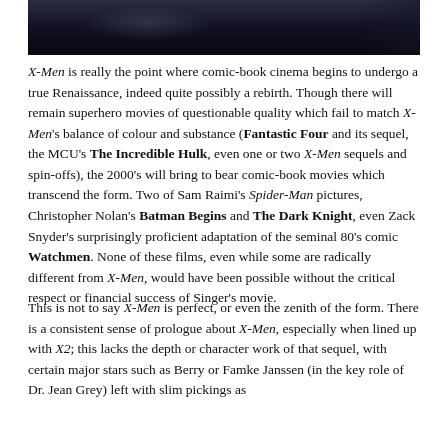[Figure (photo): Dark cinematic still image, appears to be a dimly lit scene from a film]
X-Men is really the point where comic-book cinema begins to undergo a true Renaissance, indeed quite possibly a rebirth. Though there will remain superhero movies of questionable quality which fail to match X-Men's balance of colour and substance (Fantastic Four and its sequel, the MCU's The Incredible Hulk, even one or two X-Men sequels and spin-offs), the 2000's will bring to bear comic-book movies which transcend the form. Two of Sam Raimi's Spider-Man pictures, Christopher Nolan's Batman Begins and The Dark Knight, even Zack Snyder's surprisingly proficient adaptation of the seminal 80's comic Watchmen. None of these films, even while some are radically different from X-Men, would have been possible without the critical respect or financial success of Singer's movie.
This is not to say X-Men is perfect, or even the zenith of the form. There is a consistent sense of prologue about X-Men, especially when lined up with X2; this lacks the depth or character work of that sequel, with certain major stars such as Berry or Famke Janssen (in the key role of Dr. Jean Grey) left with slim pickings as